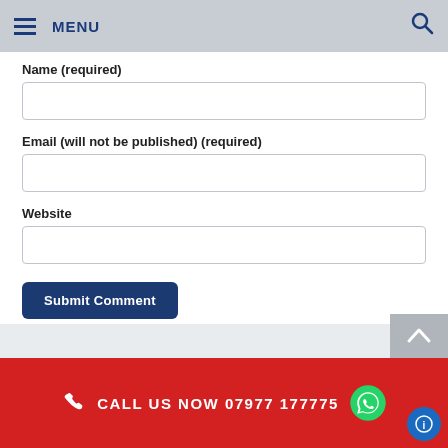MENU
Name (required)
Email (will not be published) (required)
Website
Submit Comment
CALL US NOW 07977 177775